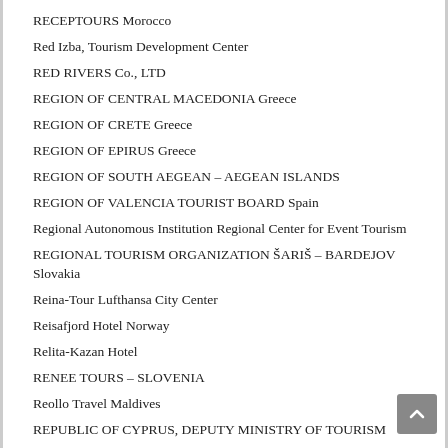RECEPTOURS Morocco
Red Izba, Tourism Development Center
RED RIVERS Co., LTD
REGION OF CENTRAL MACEDONIA Greece
REGION OF CRETE Greece
REGION OF EPIRUS Greece
REGION OF SOUTH AEGEAN – AEGEAN ISLANDS
REGION OF VALENCIA TOURIST BOARD Spain
Regional Autonomous Institution Regional Center for Event Tourism
REGIONAL TOURISM ORGANIZATION ŠARIŠ – BARDEJOV Slovakia
Reina-Tour Lufthansa City Center
Reisafjord Hotel Norway
Relita-Kazan Hotel
RENEE TOURS – SLOVENIA
Reollo Travel Maldives
REPUBLIC OF CYPRUS, DEPUTY MINISTRY OF TOURISM
Republic of Kabardino-Balkaria, Ministry of resorts and tourism